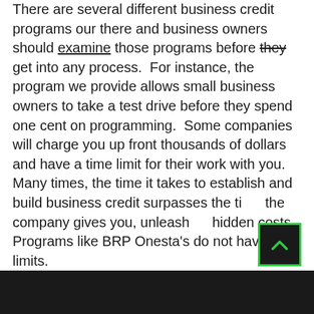There are several different business credit programs our there and business owners should examine those programs before they get into any process.  For instance, the program we provide allows small business owners to take a test drive before they spend one cent on programming.  Some companies will charge you up front thousands of dollars and have a time limit for their work with you.  Many times, the time it takes to establish and build business credit surpasses the time the company gives you, unleashing hidden costs.  Programs like BRP Onesta's do not have time limits.